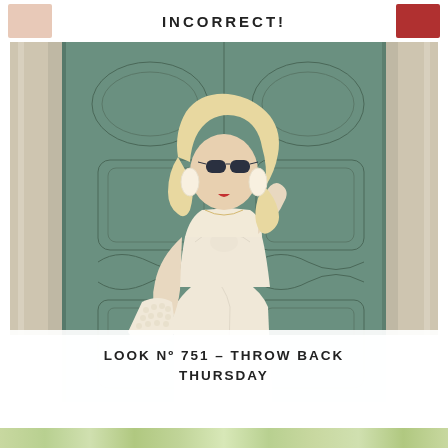INCORRECT!
[Figure (photo): Fashion photo of a blonde woman wearing a cream strapless bow top and wrap skirt, holding a pearl bag, posed in front of a large teal/green ornate door with stone pillars. She wears dark sunglasses and drop earrings.]
LOOK Nº 751 – THROW BACK THURSDAY